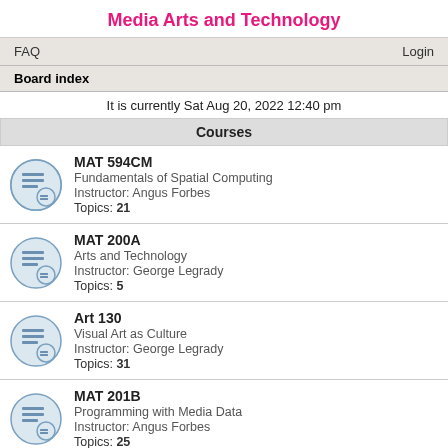Media Arts and Technology
FAQ
Login
Board index
It is currently Sat Aug 20, 2022 12:40 pm
Courses
MAT 594CM
Fundamentals of Spatial Computing
Instructor: Angus Forbes
Topics: 21
MAT 200A
Arts and Technology
Instructor: George Legrady
Topics: 5
Art 130
Visual Art as Culture
Instructor: George Legrady
Topics: 31
MAT 201B
Programming with Media Data
Instructor: Angus Forbes
Topics: 25
MAT 259